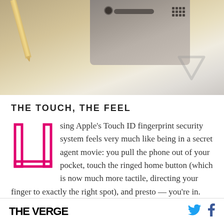[Figure (photo): Top portion of an iPhone resting on a wooden surface with a pencil nearby, photographed from above showing the top edge of the device with speaker grille and camera.]
THE TOUCH, THE FEEL
Using Apple's Touch ID fingerprint security system feels very much like being in a secret agent movie: you pull the phone out of your pocket, touch the ringed home button (which is now much more tactile, directing your finger to exactly the right spot), and presto — you're in.
THE VERGE